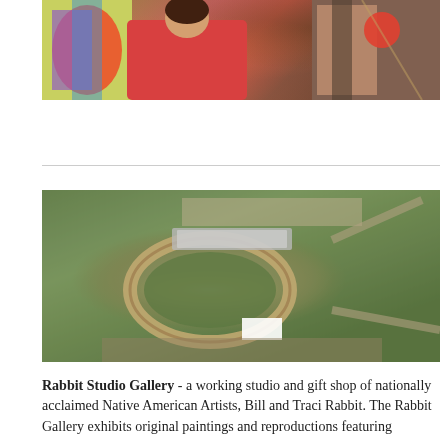[Figure (photo): Photo of a person in a red shirt painting or working on colorful Native American artwork on a canvas]
[Figure (photo): Aerial photograph of an oval dirt race track surrounded by green fields, parking areas, and roads]
Rabbit Studio Gallery - a working studio and gift shop of nationally acclaimed Native American Artists, Bill and Traci Rabbit. The Rabbit Gallery exhibits original paintings and reproductions featuring